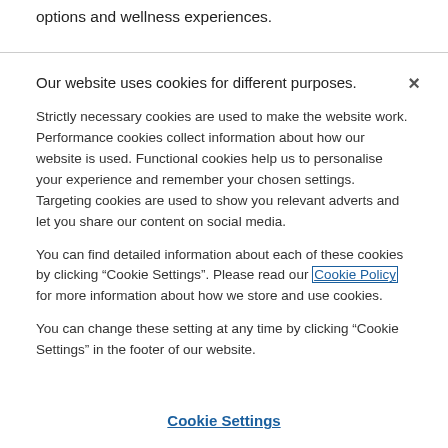options and wellness experiences.
Our website uses cookies for different purposes.
Strictly necessary cookies are used to make the website work. Performance cookies collect information about how our website is used. Functional cookies help us to personalise your experience and remember your chosen settings. Targeting cookies are used to show you relevant adverts and let you share our content on social media.
You can find detailed information about each of these cookies by clicking “Cookie Settings”. Please read our Cookie Policy for more information about how we store and use cookies.
You can change these setting at any time by clicking “Cookie Settings” in the footer of our website.
Cookie Settings